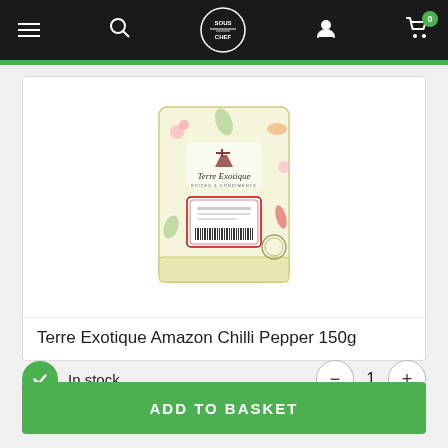Sous Chef navigation bar with hamburger menu, search, logo, user, and cart icons
[Figure (photo): Product photo of Terre Exotique Amazon Chilli Pepper 150g bag with illustrated botanical packaging on white background]
Terre Exotique Amazon Chilli Pepper 150g
In stock
1
ADD TO BASKET